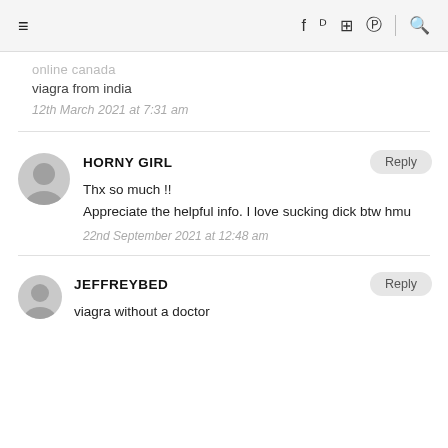≡  f  twitter  instagram  pinterest  🔍
online canada
viagra from india
12th March 2021 at 7:31 am
HORNY GIRL
Thx so much !!
Appreciate the helpful info. I love sucking dick btw hmu
22nd September 2021 at 12:48 am
JEFFREYBED
viagra without a doctor